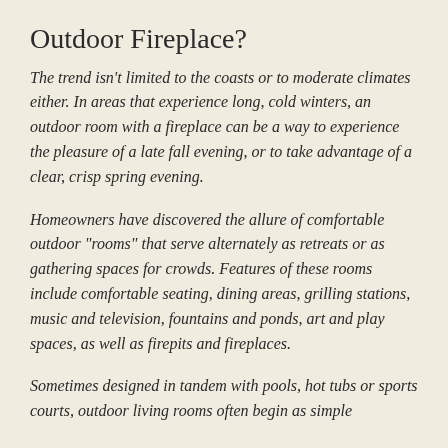Outdoor Fireplace?
The trend isn't limited to the coasts or to moderate climates either. In areas that experience long, cold winters, an outdoor room with a fireplace can be a way to experience the pleasure of a late fall evening, or to take advantage of a clear, crisp spring evening.
Homeowners have discovered the allure of comfortable outdoor "rooms" that serve alternately as retreats or as gathering spaces for crowds. Features of these rooms include comfortable seating, dining areas, grilling stations, music and television, fountains and ponds, art and play spaces, as well as firepits and fireplaces.
Sometimes designed in tandem with pools, hot tubs or sports courts, outdoor living rooms often begin as simple